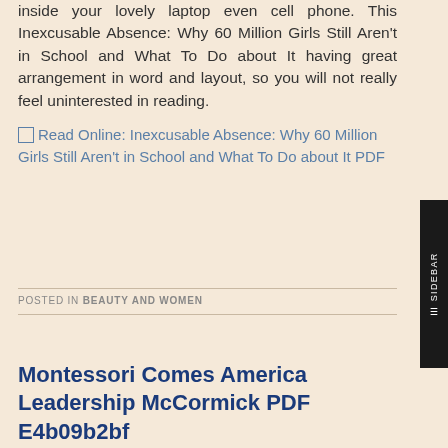inside your lovely laptop even cell phone. This Inexcusable Absence: Why 60 Million Girls Still Aren't in School and What To Do about It having great arrangement in word and layout, so you will not really feel uninterested in reading.
Read Online: Inexcusable Absence: Why 60 Million Girls Still Aren't in School and What To Do about It PDF
POSTED IN BEAUTY AND WOMEN
Montessori Comes America Leadership McCormick PDF E4b09b2bf